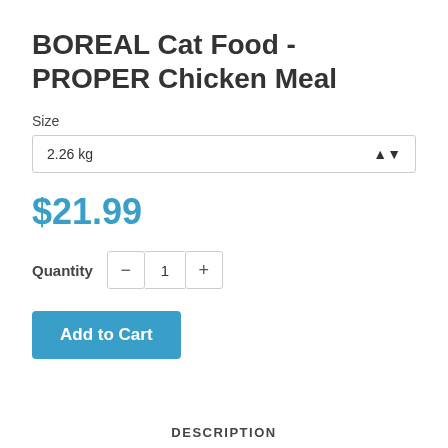BOREAL Cat Food - PROPER Chicken Meal
Size
2.26 kg
$21.99
Quantity  -  1  +
Add to Cart
DESCRIPTION